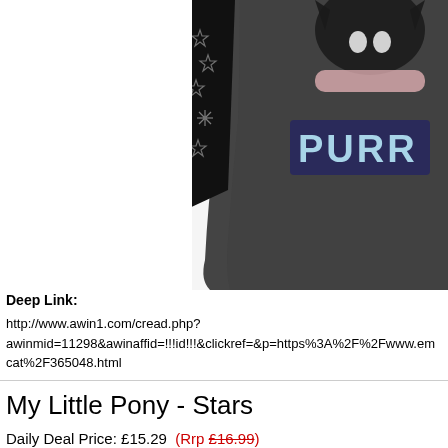[Figure (photo): Product photo of a dark grey children's t-shirt with 'PURR' text graphic featuring a cat skull design, partially cropped. A patterned sleeve with star/snowflake print is visible on the left side of the shirt.]
Deep Link:
http://www.awin1.com/cread.php?awinmid=11298&awinaffid=!!!id!!!&clickref=&p=https%3A%2F%2Fwww.em cat%2F365048.html
My Little Pony - Stars
Daily Deal Price: £15.29  (Rrp £16.99)